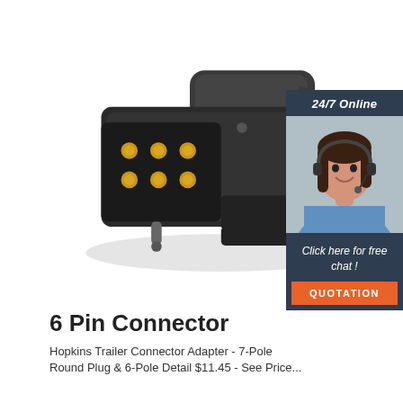[Figure (photo): A black 6-pin trailer connector adapter with gold-colored metal pins visible on one end, shown at an angle on a white background.]
[Figure (photo): A customer service agent (woman with headset, smiling) with a dark blue panel overlay reading '24/7 Online', 'Click here for free chat!', and an orange 'QUOTATION' button.]
6 Pin Connector
Hopkins Trailer Connector Adapter - 7-Pole Round Plug & 6-Pole Detail $11.45 - See Price...